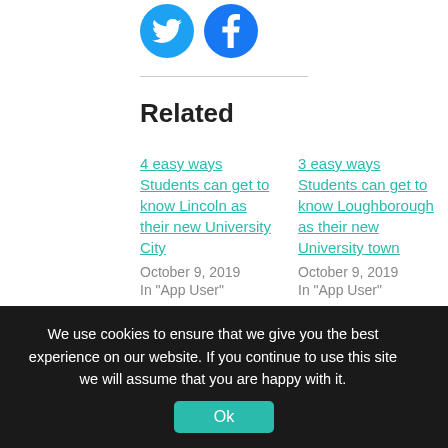[Figure (logo): Twitter circular blue icon]
[Figure (logo): Facebook circular blue icon]
Related
4 easy ways Students can get to know Lincoln as their new University City
October 9, 2019
In "App User"
3 easy ways Students can get to know Loughborough as their new University town
October 9, 2019
In "App User"
5 easy ways Students
We use cookies to ensure that we give you the best experience on our website. If you continue to use this site we will assume that you are happy with it.